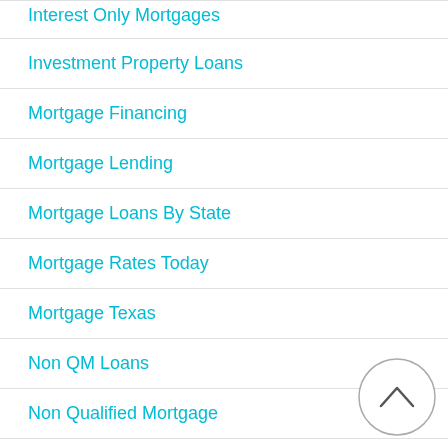Interest Only Mortgages
Investment Property Loans
Mortgage Financing
Mortgage Lending
Mortgage Loans By State
Mortgage Rates Today
Mortgage Texas
Non QM Loans
Non Qualified Mortgage
[Figure (other): Scroll to top button — circular button with a caret/chevron pointing upward]